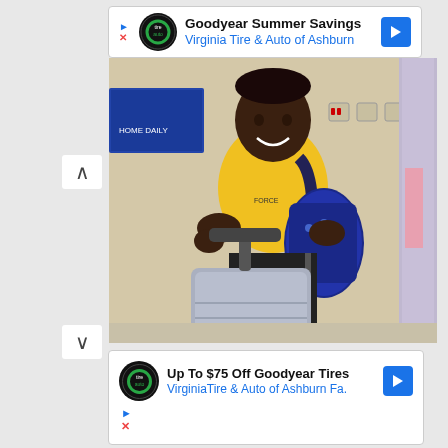[Figure (other): Advertisement banner: Goodyear Summer Savings - Virginia Tire & Auto of Ashburn]
[Figure (photo): Young boy in a yellow t-shirt with a blue backpack, holding a rolling suitcase, standing in what appears to be an airport or lobby]
[Figure (other): Advertisement banner: Up To $75 Off Goodyear Tires - Virginia Tire & Auto of Ashburn Fa.]